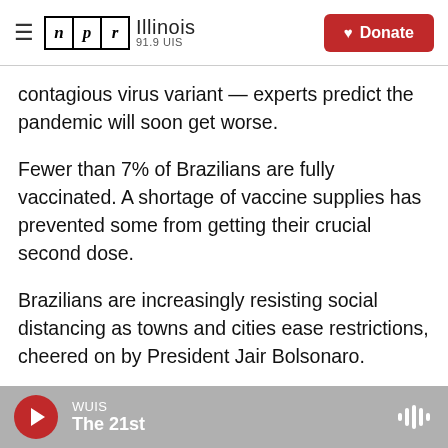NPR Illinois 91.9 UIS | Donate
contagious virus variant — experts predict the pandemic will soon get worse.
Fewer than 7% of Brazilians are fully vaccinated. A shortage of vaccine supplies has prevented some from getting their crucial second dose.
Brazilians are increasingly resisting social distancing as towns and cities ease restrictions, cheered on by President Jair Bolsonaro.
Bolsonaro, who continues to attack COVID-19 restrictions, has been widely criticized for his
WUIS — The 21st